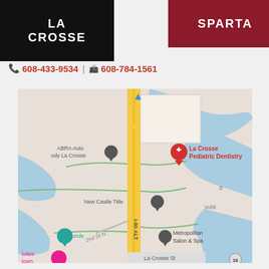LA CROSSE
SPARTA
608-433-9534 | 608-784-1561
[Figure (map): Google Maps view showing La Crosse Pediatric Dentistry location, with I-90 ALT highway, ABRA Auto Body La Crosse, New Castle Title, Metropolitan Salon & Spa, 2nd St N, La Crosse St, and nearby water features.]